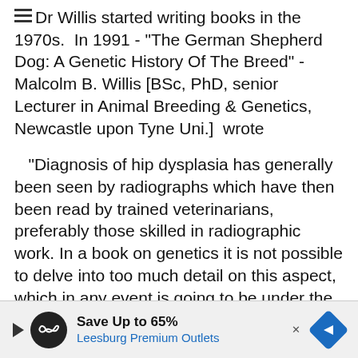Dr Willis started writing books in the 1970s. In 1991 - "The German Shepherd Dog: A Genetic History Of The Breed" - Malcolm B. Willis [BSc, PhD, senior Lecturer in Animal Breeding & Genetics, Newcastle upon Tyne Uni.] wrote
"Diagnosis of hip dysplasia has generally been seen by radiographs which have then been read by trained veterinarians, preferably those skilled in radiographic work. In a book on genetics it is not possible to delve into too much detail on this aspect, which in any event is going to be under the control of veterinarians rather than breeders. Essentially it is up to the vet.practitioner to know what method of X ray is called for and there are numerous publications dealing with this. ((My emphasis.)) The breeder should be able to visit his/her vet and know that professional skills will be
[Figure (other): Advertisement bar: Save Up to 65% Leesburg Premium Outlets with logo and navigation arrow]